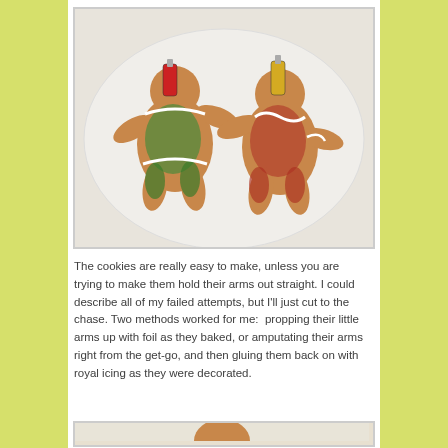[Figure (photo): Two decorated gingerbread man cookies lying on a white plate, with green and red sugar crystal decorations and white royal icing, and small bottle props placed on them.]
The cookies are really easy to make, unless you are trying to make them hold their arms out straight. I could describe all of my failed attempts, but I'll just cut to the chase. Two methods worked for me:  propping their little arms up with foil as they baked, or amputating their arms right from the get-go, and then gluing them back on with royal icing as they were decorated.
[Figure (photo): A gingerbread cookie dough ball or baked cookie head on parchment paper, shown from above.]